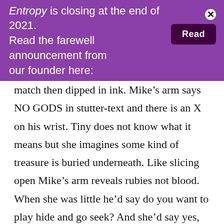Entropy is closing at the end of 2021. Read the farewell announcement from our founder here: [Read]
match then dipped in ink. Mike's arm says NO GODS in stutter-text and there is an X on his wrist. Tiny does not know what it means but she imagines some kind of treasure is buried underneath. Like slicing open Mike's arm reveals rubies not blood. When she was little he'd say do you want to play hide and go seek? And she'd say yes, and he'd hide her in the dryer then come back in ten minutes, open the door, and say I found you! Later, in third grade Tiny realized this wasn't how everyone